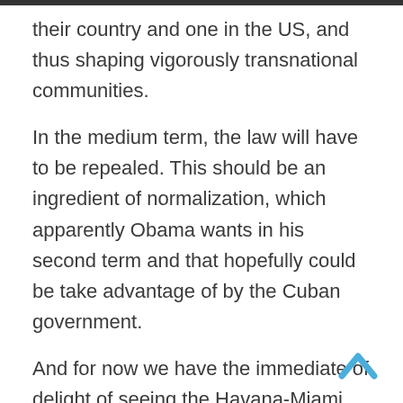their country and one in the US, and thus shaping vigorously transnational communities.
In the medium term, the law will have to be repealed. This should be an ingredient of normalization, which apparently Obama wants in his second term and that hopefully could be take advantage of by the Cuban government.
And for now we have the immediate of delight of seeing the Havana-Miami political zoo turned around.
Just as Cuban officials turned maggots